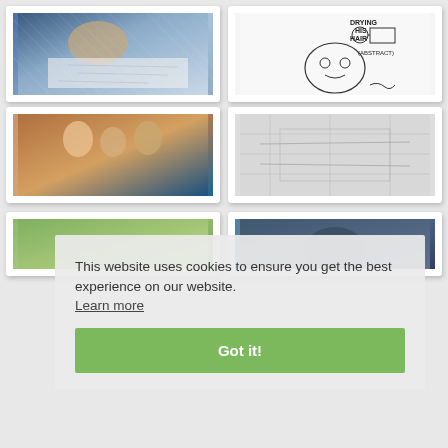[Figure (photo): Child bent over a large paper with pencil sketches/drawings on a table, viewed from above]
[Figure (illustration): Hand-drawn sketch with text 'DRYING HIS HAIR (ABSTRACT)' and an abstract face drawing]
[Figure (photo): Group of people including a bald person at what appears to be an event]
[Figure (illustration): Light pencil sketch or technical drawing on graph/grid paper]
This website uses cookies to ensure you get the best experience on our website.
Learn more
Got it!
[Figure (photo): Photo with green/plant tones, partially visible at bottom]
[Figure (photo): Photo with dark blue tones, partially visible at bottom]